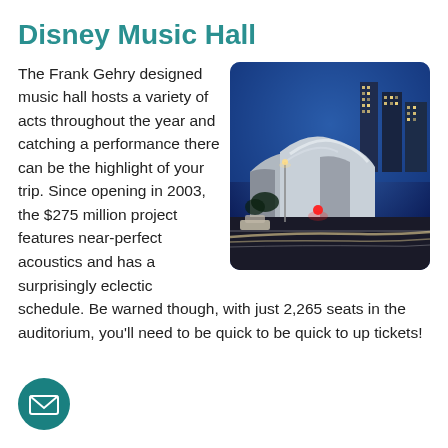Disney Music Hall
The Frank Gehry designed music hall hosts a variety of acts throughout the year and catching a performance there can be the highlight of your trip. Since opening in 2003, the $275 million project features near-perfect acoustics and has a surprisingly eclectic schedule. Be warned though, with just 2,265 seats in the auditorium, you'll need to be quick to up tickets!
[Figure (photo): Night-time cityscape showing the Walt Disney Concert Hall with its distinctive stainless steel curves in the foreground and downtown Los Angeles skyscrapers lit up in the background, with street light trails from traffic.]